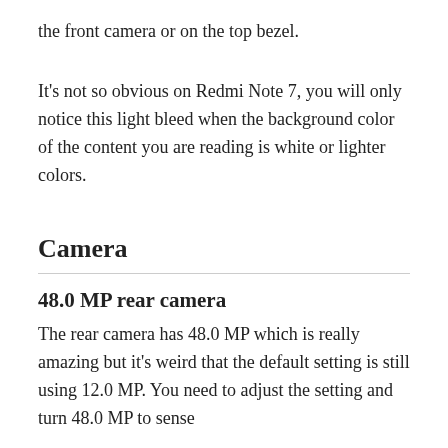the front camera or on the top bezel.
It's not so obvious on Redmi Note 7, you will only notice this light bleed when the background color of the content you are reading is white or lighter colors.
Camera
48.0 MP rear camera
The rear camera has 48.0 MP which is really amazing but it's weird that the default setting is still using 12.0 MP. You need to adjust the setting and turn 48.0 MP to sense